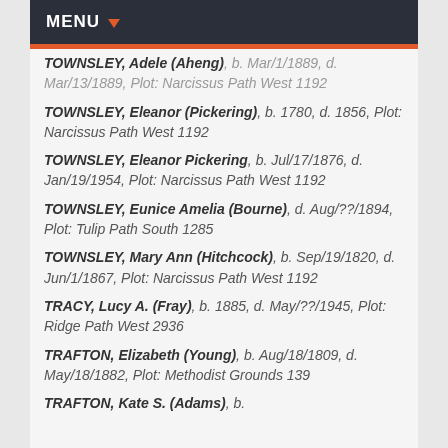MENU
TOWNSLEY, Adele (Aheng), b. Mar/1/1889, d. Mar/13/1889, Plot: Narcissus Path West 1192
TOWNSLEY, Eleanor (Pickering), b. 1780, d. 1856, Plot: Narcissus Path West 1192
TOWNSLEY, Eleanor Pickering, b. Jul/17/1876, d. Jan/19/1954, Plot: Narcissus Path West 1192
TOWNSLEY, Eunice Amelia (Bourne), d. Aug/??/1894, Plot: Tulip Path South 1285
TOWNSLEY, Mary Ann (Hitchcock), b. Sep/19/1820, d. Jun/1/1867, Plot: Narcissus Path West 1192
TRACY, Lucy A. (Fray), b. 1885, d. May/??/1945, Plot: Ridge Path West 2936
TRAFTON, Elizabeth (Young), b. Aug/18/1809, d. May/18/1882, Plot: Methodist Grounds 139
TRAFTON, Kate S. (Adams), b.